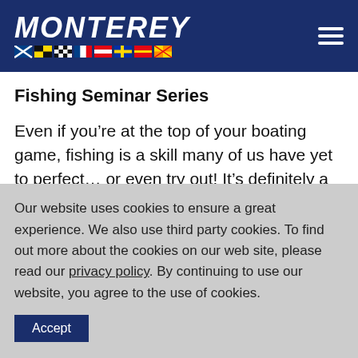MONTEREY
Fishing Seminar Series
Even if you’re at the top of your boating game, fishing is a skill many of us have yet to perfect… or even try out! It’s definitely a worthwhile activity, and this year’s show has a few courses you can take to ease yourself into the sport. Head to tournament fisher Ja…
Our website uses cookies to ensure a great experience. We also use third party cookies. To find out more about the cookies on our web site, please read our privacy policy. By continuing to use our website, you agree to the use of cookies.